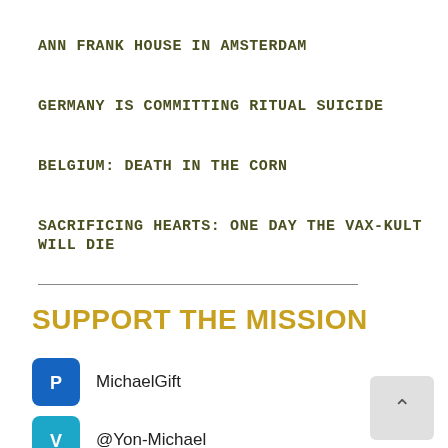ANN FRANK HOUSE IN AMSTERDAM
GERMANY IS COMMITTING RITUAL SUICIDE
BELGIUM: DEATH IN THE CORN
SACRIFICING HEARTS: ONE DAY THE VAX-KULT WILL DIE
SUPPORT THE MISSION
MichaelGift
@Yon-Michael